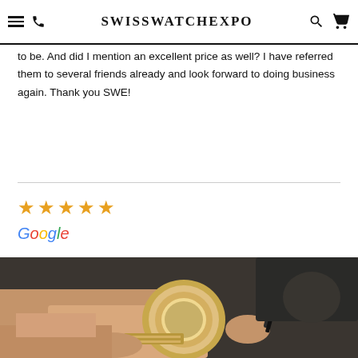SwissWatchExpo
to be. And did I mention an excellent price as well? I have referred them to several friends already and look forward to doing business again. Thank you SWE!
[Figure (other): Five gold stars rating]
Google
[Figure (photo): Person examining a luxury Rolex watch closely, holding it in hands with tools nearby on a dark surface]